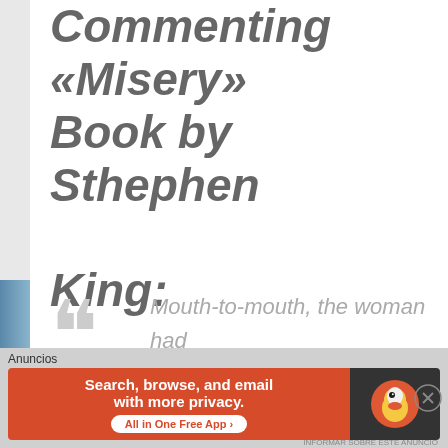Commenting «Misery» Book by Sthephen King:
Mouth-to-mouth, the woman had forced him back to life, pumping great sickly-sweet gusts of bad breath into him. Sickly-sweet, she smiled down at him, pushing the painkilleers into his dry
Anuncios
[Figure (screenshot): DuckDuckGo advertisement banner: orange left side with text 'Search, browse, and email with more privacy. All in One Free App', dark right side with DuckDuckGo duck logo]